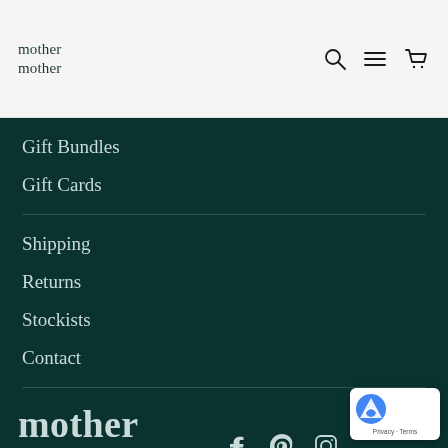mother mother
Gift Bundles
Gift Cards
Shipping
Returns
Stockists
Contact
[Figure (logo): mother mother brand logo in large serif text, white/teal color on dark green background]
[Figure (infographic): Social media icons: Facebook, Pinterest, Instagram on dark green background, plus reCAPTCHA badge]